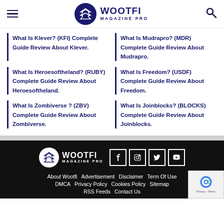WOOTFI MAGAZINE PRO
What Is Klever? (KFI) Complete Guide Review About Klever.
What Is Mudrapro? (MDR) Complete Guide Review About Mudrapro.
What Is Heroesoftheland? (RUBY) Complete Guide Review About Heroesoftheland.
What Is Freedom? (USDF) Complete Guide Review About Freedom.
What Is Zombiverse ? (ZBV) Complete Guide Review About Zombiverse.
What Is Joinblocks? (BLOCKS) Complete Guide Review About Joinblocks.
About Wootfi | Advertisement | Disclaimer | Term Of Use | DMCA | Privacy Policy | Cookies Policy | Sitemap | RSS Feeds | Contact Us